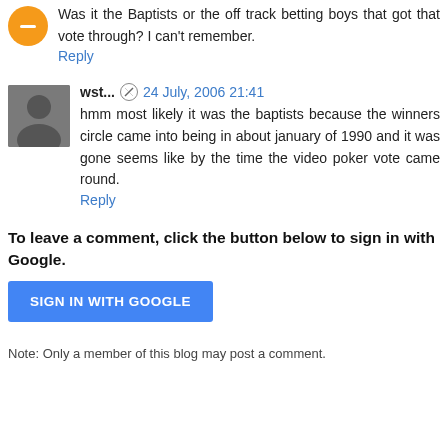Was it the Baptists or the off track betting boys that got that vote through? I can't remember.
Reply
wst... 24 July, 2006 21:41
hmm most likely it was the baptists because the winners circle came into being in about january of 1990 and it was gone seems like by the time the video poker vote came round.
Reply
To leave a comment, click the button below to sign in with Google.
SIGN IN WITH GOOGLE
Note: Only a member of this blog may post a comment.